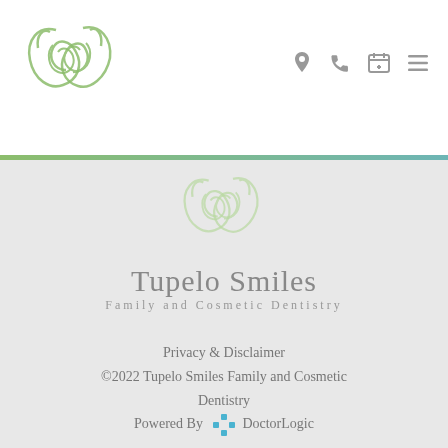[Figure (logo): Tupelo Smiles logo - two stylized face silhouettes in light green swirling design]
Tupelo Smiles
Family and Cosmetic Dentistry
[Figure (infographic): Navigation icons: location pin, phone, calendar with plus, hamburger menu - in gray]
[Figure (logo): Tupelo Smiles watermark logo in light green in footer area]
Tupelo Smiles
Family and Cosmetic Dentistry
Privacy & Disclaimer
©2022 Tupelo Smiles Family and Cosmetic Dentistry
Powered By DoctorLogic
[Figure (infographic): Social media icons: Facebook (blue), YouTube (red), Instagram (pink/red gradient)]